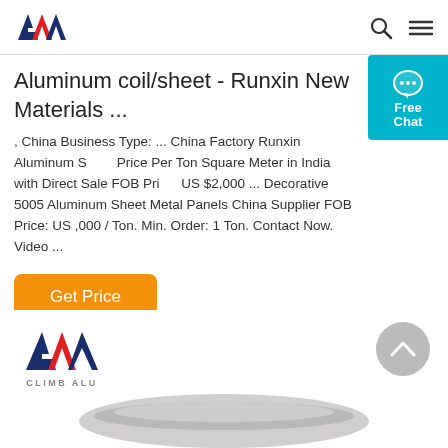Aluminum coil/sheet - Runxin New Materials (logo and navigation)
Aluminum coil/sheet - Runxin New Materials ...
, China Business Type: ... China Factory Runxin Aluminum Sheet Price Per Ton Square Meter in India with Direct Sale FOB Price: US $2,000 ... Decorative 5005 Aluminum Sheet Metal Panels China Supplier FOB Price: US ,000 / Ton. Min. Order: 1 Ton. Contact Now. Video ...
[Figure (other): Orange 'Get Price' button]
[Figure (logo): Climb Alu logo with stylized AW letters in red/blue and text CLIMB ALU below]
[Figure (photo): Partial image of aluminum coil/sheet product at bottom of page]